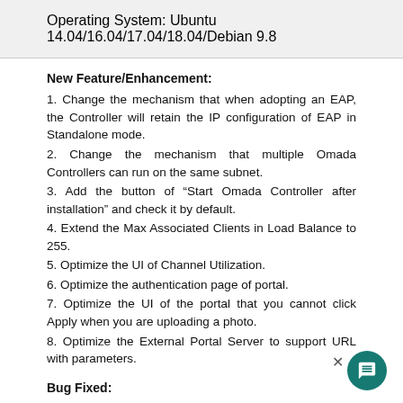Operating System: Ubuntu 14.04/16.04/17.04/18.04/Debian 9.8
New Feature/Enhancement:
1. Change the mechanism that when adopting an EAP, the Controller will retain the IP configuration of EAP in Standalone mode.
2. Change the mechanism that multiple Omada Controllers can run on the same subnet.
3. Add the button of "Start Omada Controller after installation" and check it by default.
4. Extend the Max Associated Clients in Load Balance to 255.
5. Optimize the UI of Channel Utilization.
6. Optimize the authentication page of portal.
7. Optimize the UI of the portal that you cannot click Apply when you are uploading a photo.
8. Optimize the External Portal Server to support URL with parameters.
Bug Fixed:
1. Fixed the bug that the page of MAC filter may not display all groups when there are more than 5 groups.